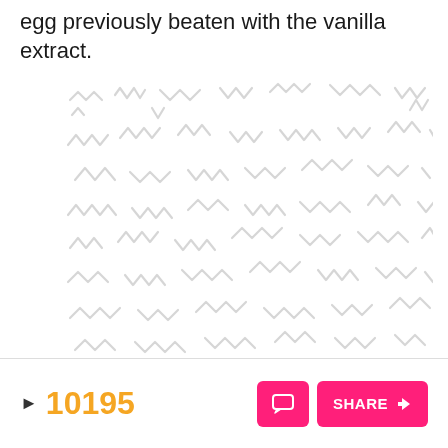egg previously beaten with the vanilla extract.
[Figure (illustration): Decorative background pattern of light gray zigzag/squiggly shapes repeated across the area.]
▶ 10195   [comment button]   SHARE ▶